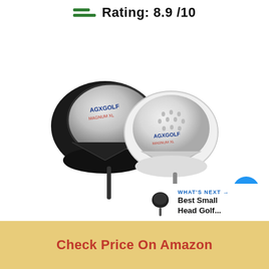Rating: 8.9 /10
[Figure (photo): Two AGXGolf Magnum XL golf driver club heads shown from different angles — front (black/chrome) and back (white/silver with ventilation holes)]
[Figure (other): Blue circular wishlist/heart icon button]
[Figure (other): White circular share icon button]
[Figure (other): WHAT'S NEXT panel with small golf driver thumbnail and text: Best Small Head Golf...]
Check Price On Amazon